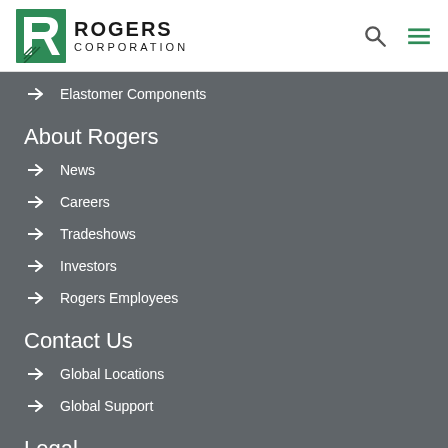[Figure (logo): Rogers Corporation logo with green R icon and company name]
Elastomer Components
About Rogers
News
Careers
Tradeshows
Investors
Rogers Employees
Contact Us
Global Locations
Global Support
Legal
Terms & Conditions
Certifications